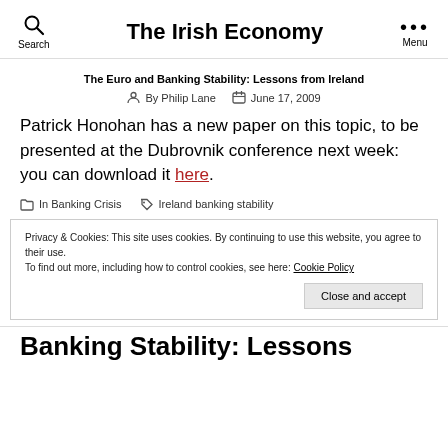The Irish Economy
The Euro and Banking Stability: Lessons from Ireland
By Philip Lane   June 17, 2009
Patrick Honohan has a new paper on this topic, to be presented at the Dubrovnik conference next week: you can download it here.
In Banking Crisis   Ireland banking stability
Privacy & Cookies: This site uses cookies. By continuing to use this website, you agree to their use. To find out more, including how to control cookies, see here: Cookie Policy
Banking Stability: Lessons